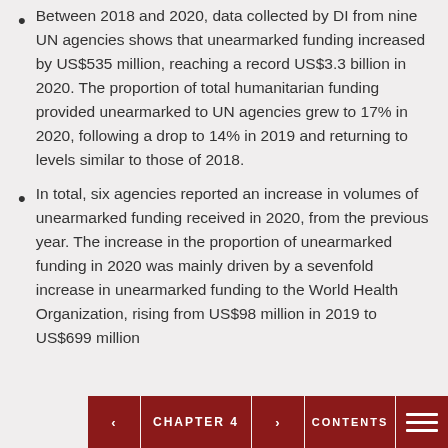Between 2018 and 2020, data collected by DI from nine UN agencies shows that unearmarked funding increased by US$535 million, reaching a record US$3.3 billion in 2020. The proportion of total humanitarian funding provided unearmarked to UN agencies grew to 17% in 2020, following a drop to 14% in 2019 and returning to levels similar to those of 2018.
In total, six agencies reported an increase in volumes of unearmarked funding received in 2020, from the previous year. The increase in the proportion of unearmarked funding in 2020 was mainly driven by a sevenfold increase in unearmarked funding to the World Health Organization, rising from US$98 million in 2019 to US$699 million
CHAPTER 4 CONTENTS